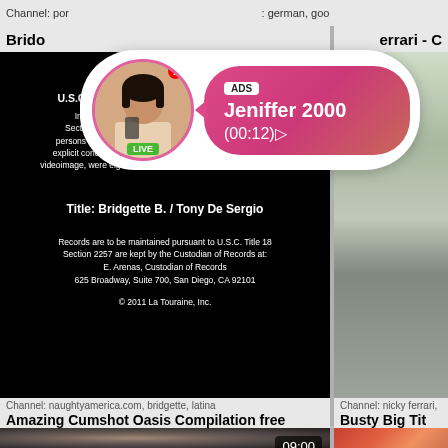Channel: por...  ...german, goo...
Brido...  ...errari - C
[Figure (screenshot): Ad overlay with circular avatar showing a woman, LIVE badge, notification badge, pink gradient bubble with ADS tag, name Jeniffer 2000, timer (00:12)]
U.S.C. Title 18, 2257 Compliance Statement
In compliance with United States Code, Title 18, Section 2257, all models, actors, actresses and other persons who appear in visual depictions of actual sexually explicit conduct appearing or otherwise contained within the videoimage, were eighteen years or older at the time of production
Title: Bridgette B. / Tony De Sergio
Records are to be maintained pursuant to U.S.C. Title 18 Section 2257 are kept by the Custodian of Records at: E. Arenas, Custodian of Records 625 Broadway, Suite 700, San Diego, CA 92101
© 2011 La Touraine, Inc.
by: PornHub
by: XVideos
Channel: naughtyamerica.com, bridgette, latina
Amazing Cumshot Oasis Compilation free
Channel: nicky ferrari,
Busty Big Tit BB...
[Figure (photo): Close-up macro photo of lips/mouth, timer badge 09:00]
[Figure (photo): Close-up photo with red/warm tones, partial body]